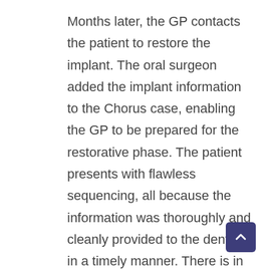Months later, the GP contacts the patient to restore the implant. The oral surgeon added the implant information to the Chorus case, enabling the GP to be prepared for the restorative phase. The patient presents with flawless sequencing, all because the information was thoroughly and cleanly provided to the dentist in a timely manner. There is in no deciphering poor penmanship as to what type or size of implant parts are needed. Additionally, the GP uses Chorus to write a lab prescription and inform them the case is ready for pickup. The lab is notified of the case and hurries over to receive it and begin working on